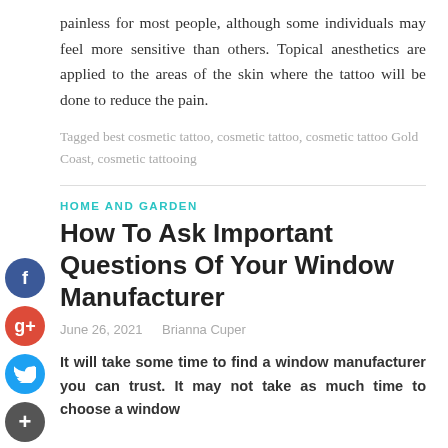painless for most people, although some individuals may feel more sensitive than others. Topical anesthetics are applied to the areas of the skin where the tattoo will be done to reduce the pain.
Tagged best cosmetic tattoo, cosmetic tattoo, cosmetic tattoo Gold Coast, cosmetic tattooing
HOME AND GARDEN
How To Ask Important Questions Of Your Window Manufacturer
June 26, 2021   Brianna Cuper
It will take some time to find a window manufacturer you can trust. It may not take as much time to choose a window